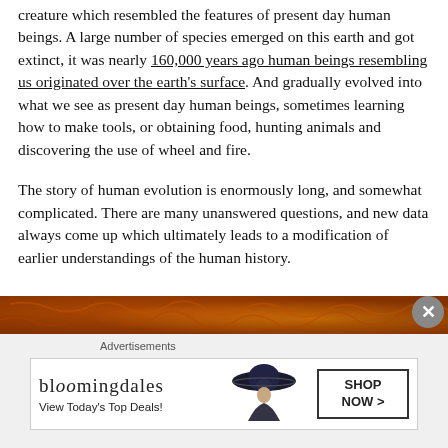creature which resembled the features of present day human beings. A large number of species emerged on this earth and got extinct, it was nearly 160,000 years ago human beings resembling us originated over the earth's surface. And gradually evolved into what we see as present day human beings, sometimes learning how to make tools, or obtaining food, hunting animals and discovering the use of wheel and fire.
The story of human evolution is enormously long, and somewhat complicated. There are many unanswered questions, and new data always come up which ultimately leads to a modification of earlier understandings of the human history.
[Figure (photo): Orange/amber textured banner image at bottom of page, partially visible, with a circular close (X) button on the right side]
Advertisements
[Figure (screenshot): Bloomingdale's advertisement banner showing the Bloomingdales logo, a woman in a large hat, 'View Today's Top Deals!' text, and a 'SHOP NOW >' button]